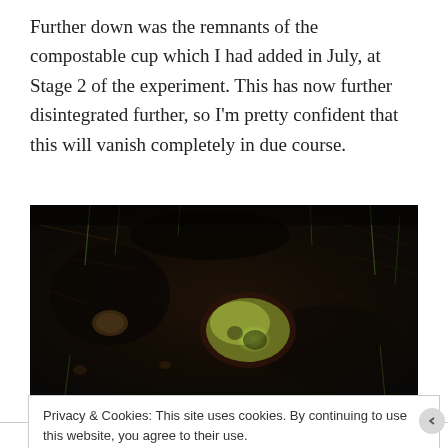Further down was the remnants of the compostable cup which I had added in July, at Stage 2 of the experiment. This has now further disintegrated further, so I'm pretty confident that this will vanish completely in due course.
[Figure (photo): Close-up photograph of dark compost/soil showing remnants of a compostable cup (yellowish-green piece visible in the center) surrounded by dark organic material, grass fibers, and soil.]
Privacy & Cookies: This site uses cookies. By continuing to use this website, you agree to their use.
To find out more, including how to control cookies, see here: Cookie Policy
Close and accept
Follow